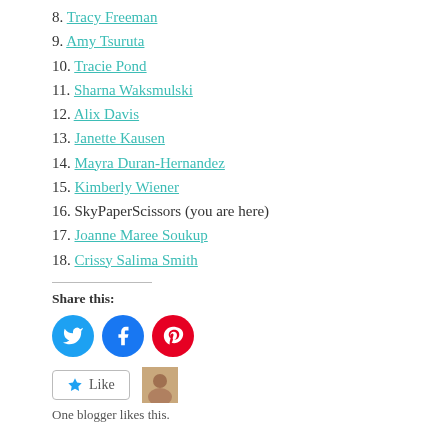8. Tracy Freeman
9. Amy Tsuruta
10. Tracie Pond
11. Sharna Waksmulski
12. Alix Davis
13. Janette Kausen
14. Mayra Duran-Hernandez
15. Kimberly Wiener
16. SkyPaperScissors (you are here)
17. Joanne Maree Soukup
18. Crissy Salima Smith
Share this:
[Figure (infographic): Social share icons: Twitter (blue circle), Facebook (blue circle), Pinterest (red circle)]
[Figure (infographic): Like button with star icon and avatar thumbnail]
One blogger likes this.